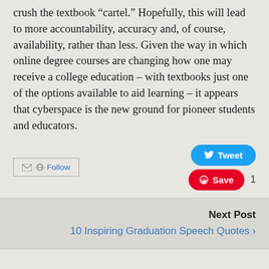crush the textbook “cartel.” Hopefully, this will lead to more accountability, accuracy and, of course, availability, rather than less. Given the way in which online degree courses are changing how one may receive a college education – with textbooks just one of the options available to aid learning – it appears that cyberspace is the new ground for pioneer students and educators.
[Figure (other): Follow button with email and RSS icons, Tweet button (blue rounded), Save button (red rounded) with count of 1]
Next Post
10 Inspiring Graduation Speech Quotes ›